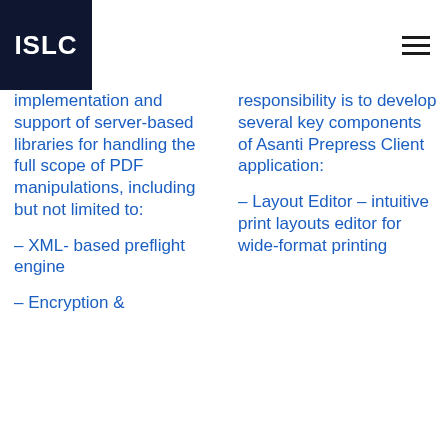[Figure (logo): ISLC logo: white text on dark navy square background]
implementation and support of server-based libraries for handling the full scope of PDF manipulations, including but not limited to:
– XML- based preflight engine
– Encryption &
responsibility is to develop several key components of Asanti Prepress Client application:
– Layout Editor – intuitive print layouts editor for wide-format printing